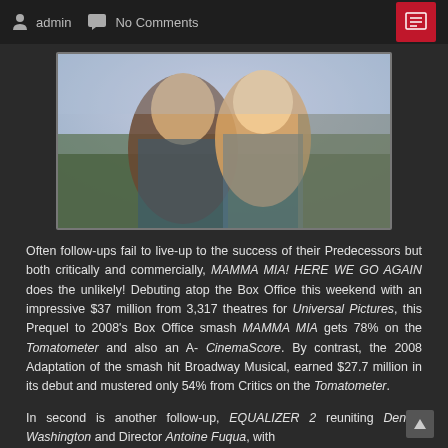admin  No Comments
[Figure (photo): A man and woman smiling together in a crowd, appearing to be from the movie Mamma Mia! Here We Go Again]
Often follow-ups fail to live-up to the success of their Predecessors but both critically and commercially, MAMMA MIA! HERE WE GO AGAIN does the unlikely! Debuting atop the Box Office this weekend with an impressive $37 million from 3,317 theatres for Universal Pictures, this Prequel to 2008's Box Office smash MAMMA MIA gets 78% on the Tomatometer and also an A- CinemaScore. By contrast, the 2008 Adaptation of the smash hit Broadway Musical, earned $27.7 million in its debut and mustered only 54% from Critics on the Tomatometer.
In second is another follow-up, EQUALIZER 2 reuniting Denzel Washington and Director Antoine Fuqua, with